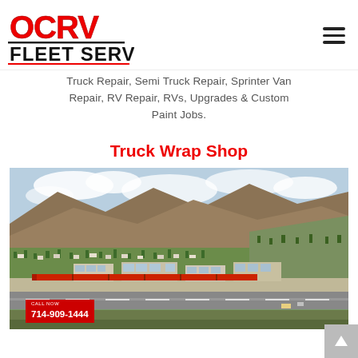[Figure (logo): OCRV Fleet Services logo with red stylized letters OCRV and black bold text FLEET SERVICES below]
Truck Repair, Semi Truck Repair, Sprinter Van Repair, RV Repair, RVs, Upgrades & Custom Paint Jobs.
Truck Wrap Shop
[Figure (photo): Aerial drone photograph of a suburban valley area with hillside residential neighborhoods, industrial/commercial buildings in the foreground, mountains in the background, partly cloudy sky. A red phone number badge reads CALL NOW 714-909-1444.]
714-909-1444